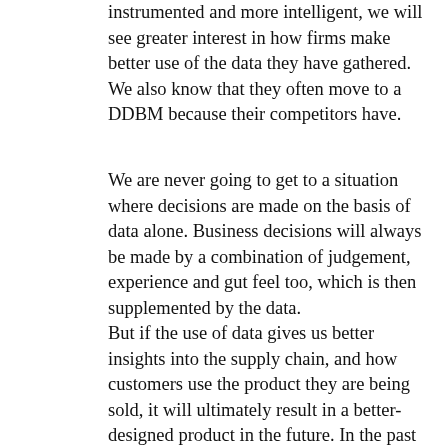instrumented and more intelligent, we will see greater interest in how firms make better use of the data they have gathered. We also know that they often move to a DDBM because their competitors have.
We are never going to get to a situation where decisions are made on the basis of data alone. Business decisions will always be made by a combination of judgement, experience and gut feel too, which is then supplemented by the data. But if the use of data gives us better insights into the supply chain, and how customers use the product they are being sold, it will ultimately result in a better-designed product in the future. In the past this information was often hidden behind the curtain but now new technology allows firms to access it and make it more transparent.
Older, more established, companies can compete with the new start-ups in this world of big data, but both old and new firms will all need to answer the six questions we have set them. The DDBM-Innovation Blueprint enables organisations to construct their own DDBM that is unique to their business and environment. It should no